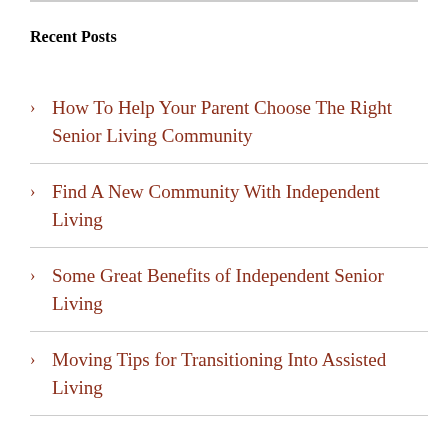Recent Posts
How To Help Your Parent Choose The Right Senior Living Community
Find A New Community With Independent Living
Some Great Benefits of Independent Senior Living
Moving Tips for Transitioning Into Assisted Living